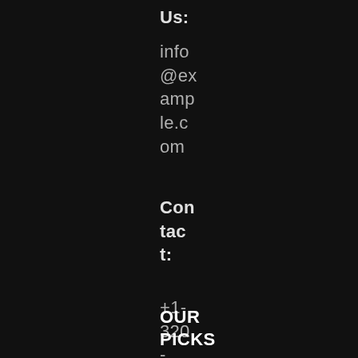Us:
info@example.com
Contact:
+1-320-0123-451
OUR PICKS